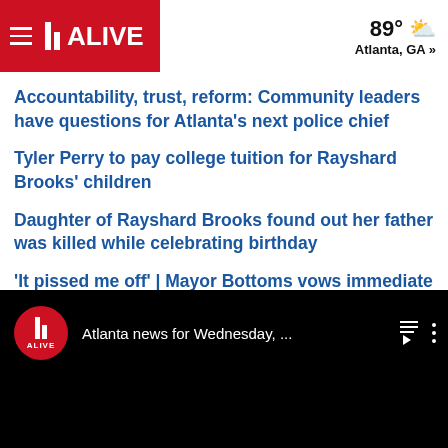11 ALIVE | 89° Atlanta, GA »
Accountability, trust, reform: Community leaders have questions for Atlanta's next police chief
Tyler Perry to pay college tuition for Rayshard Brooks' children
Daughter of Rayshard Brooks found out her father was killed while celebrating birthday
'It pissed me off' | Mayor Bottoms vows immediate changes after Rayshard Brooks shooting
[Figure (screenshot): 11 Alive YouTube video player showing 'Atlanta news for Wednesday, ...' with playlist and options icons on a black background]